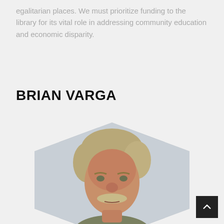egalitarian places. We must prioritize funding to the library for its vital role in addressing community education and economic disparity.
BRIAN VARGA
[Figure (photo): Headshot of Brian Varga, a middle-aged man with blonde/gray hair and a mustache, wearing a jacket, displayed inside a hexagonal shape on a light gray background.]